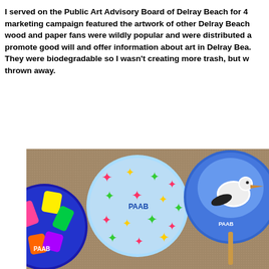I served on the Public Art Advisory Board of Delray Beach for 4 marketing campaign featured the artwork of other Delray Beach wood and paper fans were wildly popular and were distributed a promote good will and offer information about art in Delray Bea. They were biodegradable so I wasn't creating more trash, but w thrown away.
[Figure (photo): Three circular hand fans with PAAB branding lying on a textured carpet/ground surface. The left fan has colorful geometric/abstract art in blue, pink, yellow, green. The center fan has a light blue background with colorful figure/people patterns and PAAB text. The right fan features a pelican bird on a blue background with PAAB text, and has a wooden stick handle visible.]